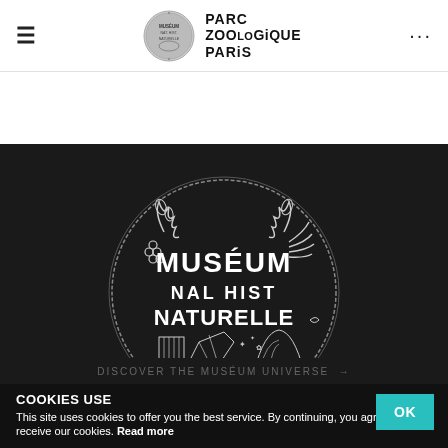[Figure (logo): Parc Zoologique Paris header with hamburger menu, circular museum seal logo, text PARC ZOOLOGIQUE PARIS, and three dots menu]
[Figure (logo): Museum National d'Histoire Naturelle circular emblem with white line art on dark background showing text MUSEUM NAL HIST NATURELLE with botanical and architectural illustrations]
DISCOVER THE MUSÉUM UNIVERSE →
COOKIES USE
This site uses cookies to offer you the best service. By continuing, you agree to receive our cookies. Read more